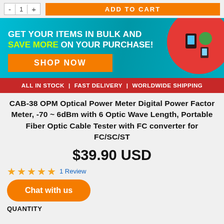[Figure (screenshot): Top bar with quantity minus/value/plus controls and orange ADD TO CART button]
[Figure (infographic): Promotional banner: GET YOUR ITEMS IN BULK AND SAVE MORE ON YOUR PURCHASE! with SHOP NOW button and product images on red circle]
ALL IN STOCK  |  FAST DELIVERY  |  WORLDWIDE SHIPPING
CAB-38 OPM Optical Power Meter Digital Power Factor Meter, -70 ~ 6dBm with 6 Optic Wave Length, Portable Fiber Optic Cable Tester with FC converter for FC/SC/ST
$39.90 USD
★★★★★ 1 Review
Chat with us
QUANTITY